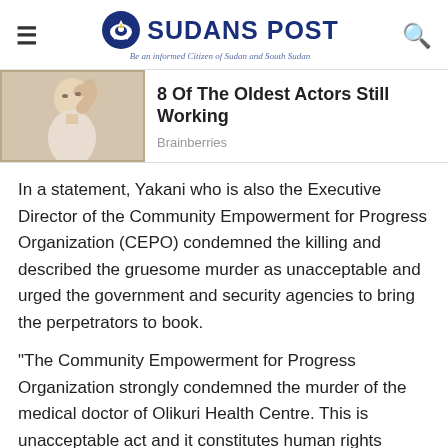SUDANS POST — Be an informed Citizen of Sudan and South Sudan
[Figure (photo): Elderly man touching his head, promotional/advertisement image for Brainberries article about oldest actors still working]
8 Of The Oldest Actors Still Working
Brainberries
In a statement, Yakani who is also the Executive Director of the Community Empowerment for Progress Organization (CEPO) condemned the killing and described the gruesome murder as unacceptable and urged the government and security agencies to bring the perpetrators to book.
“The Community Empowerment for Progress Organization strongly condemned the murder of the medical doctor of Olikuri Health Centre. This is unacceptable act and it constitutes human rights abuse and extra-judiciary killing. The government security agencies should bring the perpetrators to